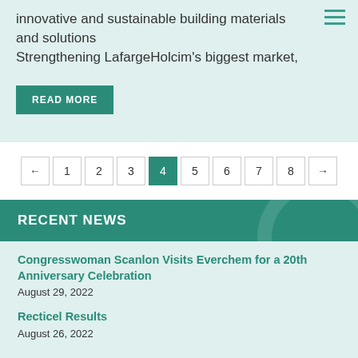innovative and sustainable building materials and solutions
Strengthening LafargeHolcim’s biggest market,
READ MORE
←
1
2
3
4
5
6
7
8
→
RECENT NEWS
Congresswoman Scanlon Visits Everchem for a 20th Anniversary Celebration
August 29, 2022
Recticel Results
August 26, 2022